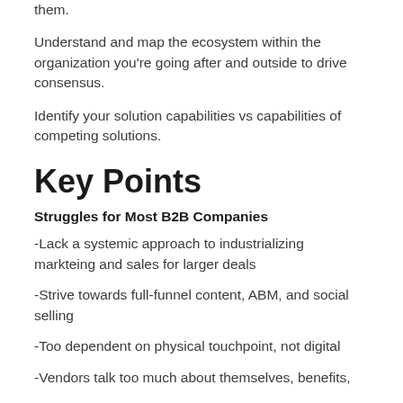them.
Understand and map the ecosystem within the organization you're going after and outside to drive consensus.
Identify your solution capabilities vs capabilities of competing solutions.
Key Points
Struggles for Most B2B Companies
-Lack a systemic approach to industrializing markteing and sales for larger deals
-Strive towards full-funnel content, ABM, and social selling
-Too dependent on physical touchpoint, not digital
-Vendors talk too much about themselves, benefits,